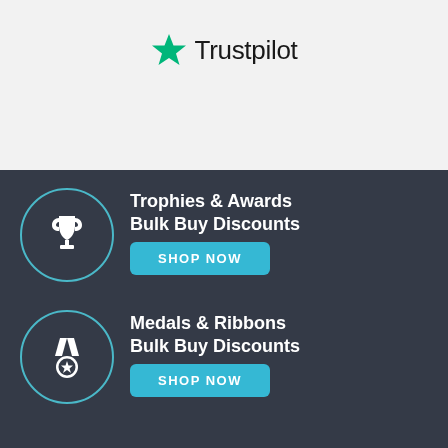[Figure (logo): Trustpilot logo with green star and 'Trustpilot' text]
[Figure (infographic): Trophies & Awards Bulk Buy Discounts section with trophy icon in circle and SHOP NOW button on dark background]
[Figure (infographic): Medals & Ribbons Bulk Buy Discounts section with medal icon in circle and SHOP NOW button on dark background]